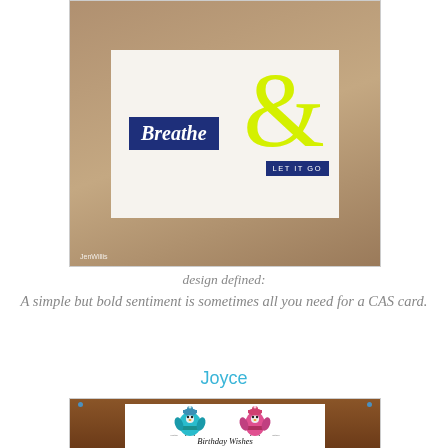[Figure (photo): A handmade greeting card on a tan/brown surface. The card has a cream background with a large yellow ampersand symbol. Text on a navy blue badge reads 'Breathe' in italic white script, and another navy badge reads 'LET IT GO'. Watermark reads 'JenWillis' in the bottom left corner.]
design defined:
A simple but bold sentiment is sometimes all you need for a CAS card.
Joyce
[Figure (photo): A handmade birthday card displayed on a wooden frame with small blue pins/brads in the corners. The card features two cute penguins wearing winter hats and scarves, ice skating. Below them is the text 'Birthday Wishes' in cursive script.]